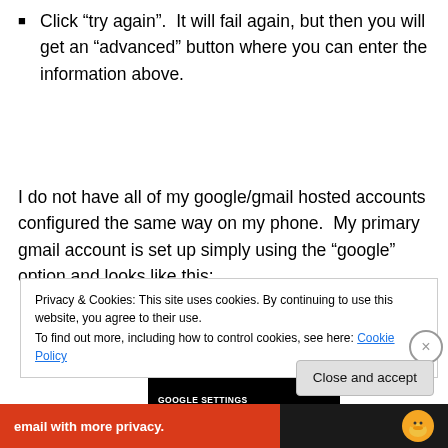Click “try again”.  It will fail again, but then you will get an “advanced” button where you can enter the information above.
I do not have all of my google/gmail hosted accounts configured the same way on my phone.  My primary gmail account is set up simply using the “google” option and looks like this:
[Figure (screenshot): Android phone screenshot showing Google Settings screen with Account name field set to 'Google', time shown as 11:41]
Privacy & Cookies: This site uses cookies. By continuing to use this website, you agree to their use.
To find out more, including how to control cookies, see here: Cookie Policy
[Figure (screenshot): Ad banner reading 'email with more privacy.' with DuckDuckGo duck icon]